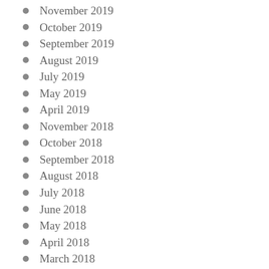November 2019
October 2019
September 2019
August 2019
July 2019
May 2019
April 2019
November 2018
October 2018
September 2018
August 2018
July 2018
June 2018
May 2018
April 2018
March 2018
February 2018
December 2017
November 2017
October 2017
September 2017